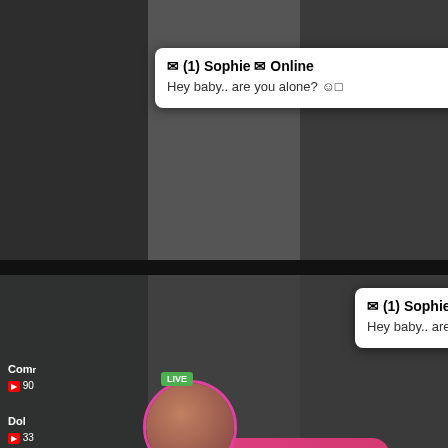[Figure (screenshot): Dark video grid background with multiple panels]
✉ (1) Sophie ✉ Online
Hey baby.. are you alone? ☺️
✉ (1) Sophie ✉ Online
Hey baby.. are you alone? ☺️
ADS
Jeniffer 2000
(00:12)🎵
ADS
(1)Missed Call from Eliza
pleeease call me back.. I miss you!
0:00  3:23
Comr
▶ 90
Dol
▶ 33